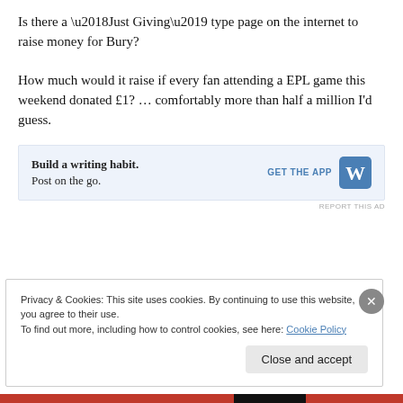Is there a ‘Just Giving’ type page on the internet to raise money for Bury?

How much would it raise if every fan attending a EPL game this weekend donated £1? … comfortably more than half a million I’d guess.
[Figure (infographic): WordPress app advertisement banner with text 'Build a writing habit. Post on the go.' and GET THE APP button with WordPress logo]
Privacy & Cookies: This site uses cookies. By continuing to use this website, you agree to their use.
To find out more, including how to control cookies, see here: Cookie Policy
Close and accept